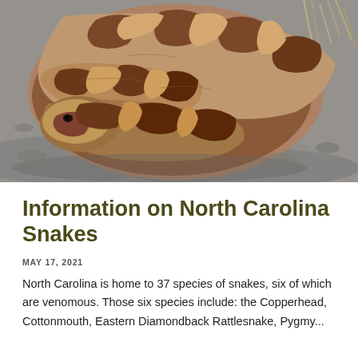[Figure (photo): Close-up photograph of a coiled copperhead snake with distinctive brown and tan banded pattern, resting on a rocky surface with some dry grass visible in the background.]
Information on North Carolina Snakes
MAY 17, 2021
North Carolina is home to 37 species of snakes, six of which are venomous. Those six species include: the Copperhead, Cottonmouth, Eastern Diamondback Rattlesnake, Pygmy...